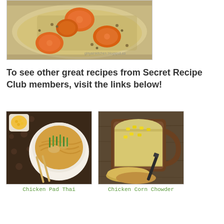[Figure (photo): Bowl of soup with large sliced carrots and lentils in broth, viewed from above, on a patterned surface with watermark text]
To see other great recipes from Secret Recipe Club members, visit the links below!
[Figure (photo): Chicken Pad Thai dish in a white bowl with chopsticks and a small side dish of corn on a dark patterned mat]
Chicken Pad Thai
[Figure (photo): Chicken Corn Chowder in a brown ceramic mug with corn kernels on top, served with bread]
Chicken Corn Chowder